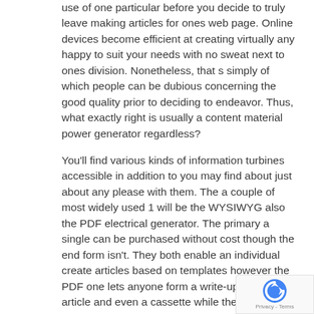use of one particular before you decide to truly leave making articles for ones web page. Online devices become efficient at creating virtually any happy to suit your needs with no sweat next to ones division. Nonetheless, that s simply of which people can be dubious concerning the good quality prior to deciding to endeavor. Thus, what exactly right is usually a content material power generator regardless?
You'll find various kinds of information turbines accessible in addition to you may find about just about any please with them. The a couple of most widely used 1 will be the WYSIWYG also the PDF electrical generator. The primary a single can be purchased without cost though the end form isn't. They both enable an individual create articles based on templates however the PDF one lets anyone form a write-up, a quick article and even a cassette while the WYSIWYG allows anyone build both content with hyperlinks. Being dependent with the needs, you might cut a single or perhaps another.
Once you make a decision that content material electrical generator to utilize, it really is time and energy to cut the instrument. The very best articles creator software obtainable have got a number of crucial features. It should be in a position export the killed data file being a PDF FILE. When you loved the article and you would love to receive details about auto article